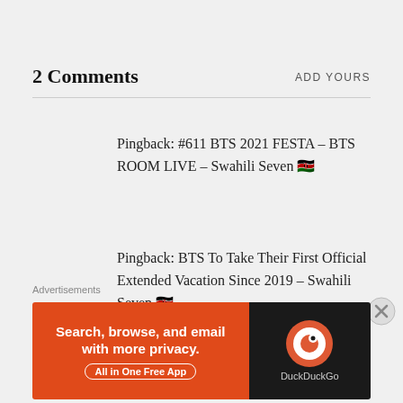2 Comments
ADD YOURS
Pingback: #611 BTS 2021 FESTA – BTS ROOM LIVE – Swahili Seven 🇰🇪
Pingback: BTS To Take Their First Official Extended Vacation Since 2019 – Swahili Seven 🇰🇪
Advertisements
[Figure (screenshot): DuckDuckGo advertisement banner: orange left side with text 'Search, browse, and email with more privacy. All in One Free App' and dark right side with DuckDuckGo logo and name.]